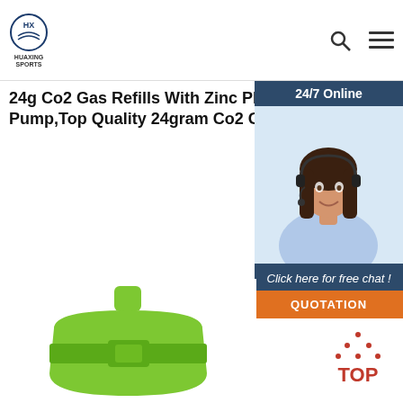HUAXING SPORTS
24g Co2 Gas Refills With Zinc Plating Co2 Cartridge Bike Pump,Top Quality 24gram Co2 Gas Cylinder Zinc Plating Or ...
Get Price
[Figure (photo): Customer service representative woman wearing headset, 24/7 Online banner, Click here for free chat, QUOTATION button]
[Figure (photo): Green CO2 cartridge product image]
[Figure (illustration): TOP button with red dotted triangle above the text TOP in red]